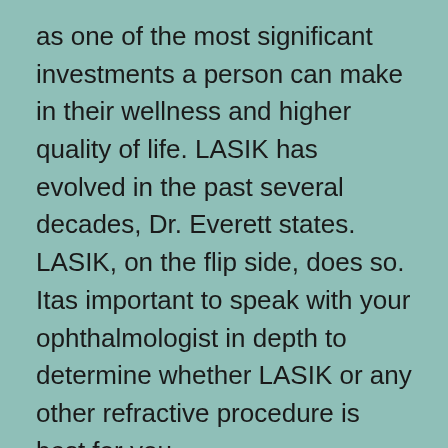as one of the most significant investments a person can make in their wellness and higher quality of life. LASIK has evolved in the past several decades, Dr. Everett states. LASIK, on the flip side, does so. Itas important to speak with your ophthalmologist in depth to determine whether LASIK or any other refractive procedure is best for you.
Surgery could be advised just in rare cases whenever the patient does not react to treatment. LASIK surgery is done on approximately one million eyes annually on the planet and it's not any different than every